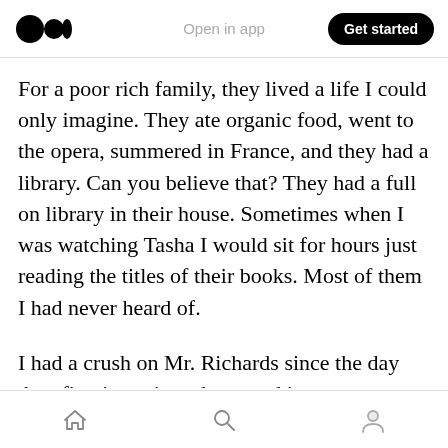Open in app | Get started
For a poor rich family, they lived a life I could only imagine. They ate organic food, went to the opera, summered in France, and they had a library. Can you believe that? They had a full on library in their house. Sometimes when I was watching Tasha I would sit for hours just reading the titles of their books. Most of them I had never heard of.
I had a crush on Mr. Richards since the day they first interviewed me, and it never got smaller as time went by. He was handsome, smart, and
Home | Search | Profile